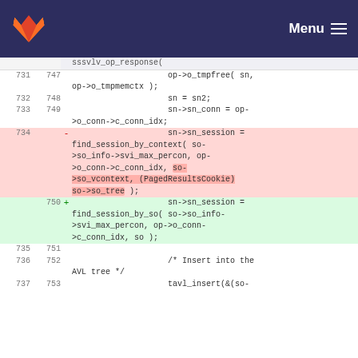Menu
[Figure (screenshot): GitLab code diff view showing lines 731-737/747-753 of a C source file. Lines 734 (deleted, red) show sn->sn_session = find_session_by_context(...). Lines 750 (added, green) show sn->sn_session = find_session_by_so(...)]